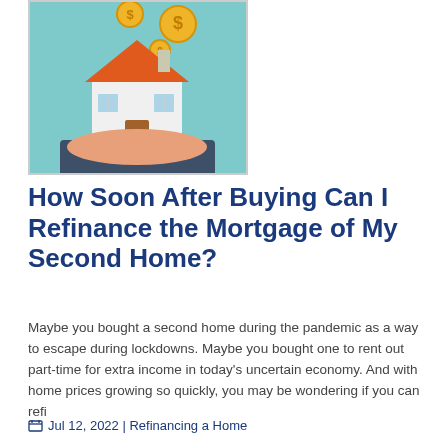[Figure (illustration): Illustration of a hand holding a house with gold coins dropping from above, on a teal/mint background]
How Soon After Buying Can I Refinance the Mortgage of My Second Home?
Maybe you bought a second home during the pandemic as a way to escape during lockdowns. Maybe you bought one to rent out part-time for extra income in today's uncertain economy. And with home prices growing so quickly, you may be wondering if you can refi
Jul 12, 2022 | Refinancing a Home